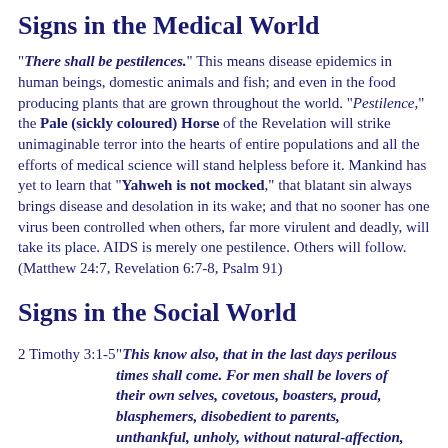Signs in the Medical World
"There shall be pestilences." This means disease epidemics in human beings, domestic animals and fish; and even in the food producing plants that are grown throughout the world. "Pestilence," the Pale (sickly coloured) Horse of the Revelation will strike unimaginable terror into the hearts of entire populations and all the efforts of medical science will stand helpless before it. Mankind has yet to learn that "Yahweh is not mocked," that blatant sin always brings disease and desolation in its wake; and that no sooner has one virus been controlled when others, far more virulent and deadly, will take its place. AIDS is merely one pestilence. Others will follow. (Matthew 24:7, Revelation 6:7-8, Psalm 91)
Signs in the Social World
2 Timothy 3:1-5 "This know also, that in the last days perilous times shall come. For men shall be lovers of their own selves, covetous, boasters, proud, blasphemers, disobedient to parents, unthankful, unholy, without natural-affection, truce-breakers, despisers of those that are good. Traitors, heady, highminded, lovers of pleasure..."